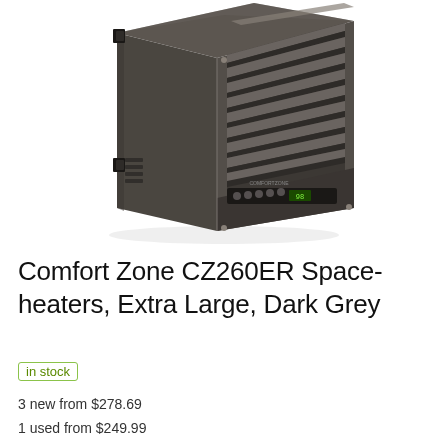[Figure (photo): A Comfort Zone CZ260ER electric space heater in dark grey/bronze finish, shown in a three-quarter view. The unit is a large box-style heater with horizontal fin louvers on the front face, a digital display and control buttons on the lower front panel, ventilation slots on the sides, and mounting brackets.]
Comfort Zone CZ260ER Space-heaters, Extra Large, Dark Grey
in stock
3 new from $278.69
1 used from $249.99